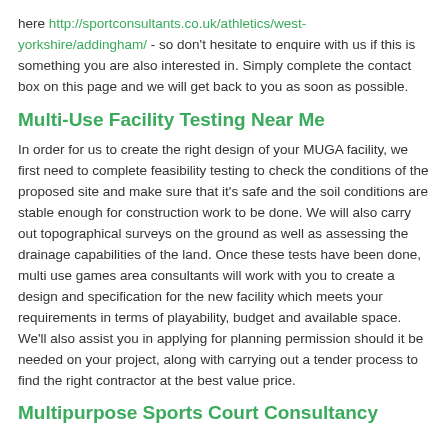here http://sportconsultants.co.uk/athletics/west-yorkshire/addingham/ - so don't hesitate to enquire with us if this is something you are also interested in. Simply complete the contact box on this page and we will get back to you as soon as possible.
Multi-Use Facility Testing Near Me
In order for us to create the right design of your MUGA facility, we first need to complete feasibility testing to check the conditions of the proposed site and make sure that it's safe and the soil conditions are stable enough for construction work to be done. We will also carry out topographical surveys on the ground as well as assessing the drainage capabilities of the land. Once these tests have been done, multi use games area consultants will work with you to create a design and specification for the new facility which meets your requirements in terms of playability, budget and available space. We'll also assist you in applying for planning permission should it be needed on your project, along with carrying out a tender process to find the right contractor at the best value price.
Multipurpose Sports Court Consultancy